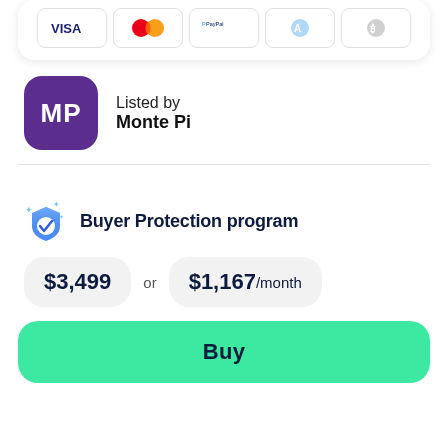[Figure (other): Payment method icons: Visa, Mastercard, PayPal, Afterpay, Bitcoin inside a white rounded card]
Listed by
Monte Pi
Buyer Protection program
$3,499 or $1,167 /month
Buy